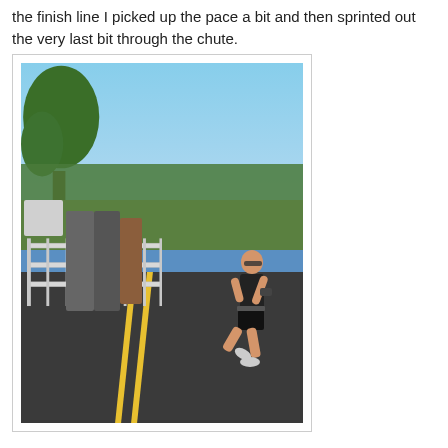the finish line I picked up the pace a bit and then sprinted out the very last bit through the chute.
[Figure (photo): A woman in black athletic wear running on a road near the finish of a race. She is wearing sunglasses and has an armband. Spectators stand behind a metal barricade fence on the left side of the road. In the background there are vineyard rows, trees, and a clear blue sky. There are yellow double lines on the dark road surface.]